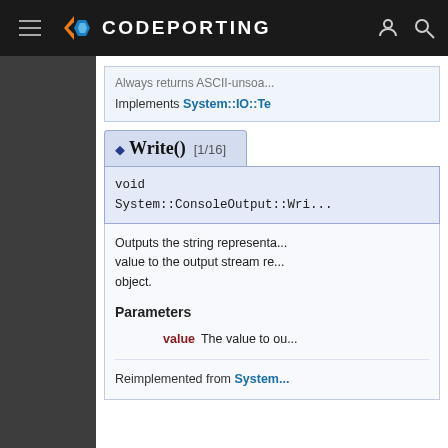[Figure (logo): CodePorting logo and navigation bar with hamburger menu, logo icon, CODEPORTING text, user icon and search icon on dark background]
Always returns ASCII-unsoa...
Implements System::IO::Te...
◆ Write() [1/16]
void System::ConsoleOutput::Wri...
Outputs the string representa... value to the output stream re... object.
Parameters
value The value to ou...
Reimplemented from System...